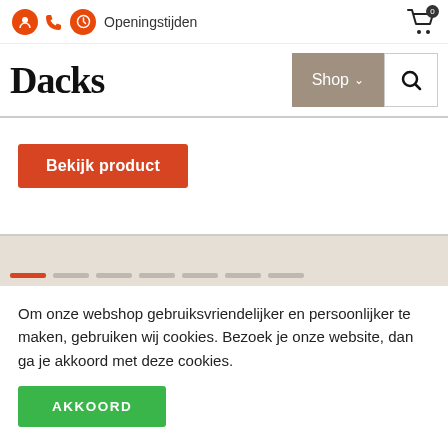Openingstijden
Dacks
Shop
[Figure (screenshot): Hero product area with 'Bekijk product' red button]
Om onze webshop gebruiksvriendelijker en persoonlijker te maken, gebruiken wij cookies. Bezoek je onze website, dan ga je akkoord met deze cookies.
AKKOORD